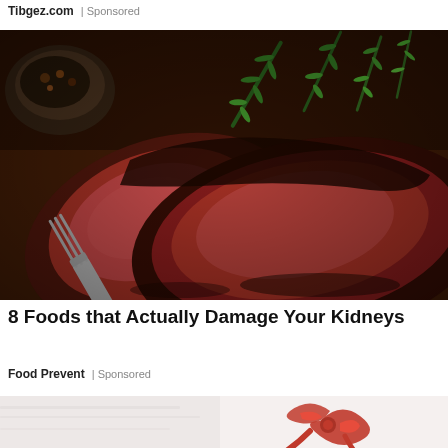Tibgez.com | Sponsored
[Figure (photo): Close-up photo of grilled steak slices on a dark background, with a fork on the left and fresh rosemary garnish on the upper right]
8 Foods that Actually Damage Your Kidneys
Food Prevent | Sponsored
[Figure (photo): Partial bottom image showing a white background with red ribbon/bow element, suggesting a gift or fashion item]